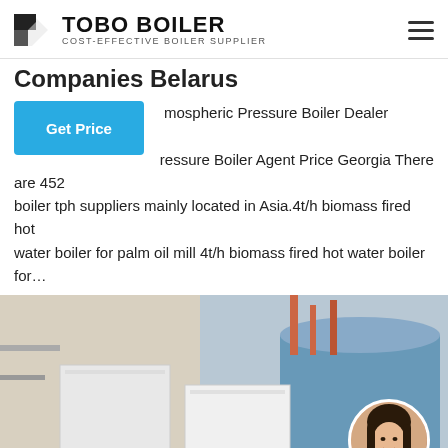TOBO BOILER — COST-EFFECTIVE BOILER SUPPLIER
Companies Belarus
mospheric Pressure Boiler Dealer Georgia. 8t Coal ressure Boiler Agent Price Georgia There are 452 boiler tph suppliers mainly located in Asia.4t/h biomass fired hot water boiler for palm oil mill 4t/h biomass fired hot water boiler for…
[Figure (photo): Industrial boilers in a factory setting, with white box-shaped steam generators in the foreground and large cylindrical blue boilers in the background. A WhatsApp button overlay in green is at the bottom left, and a circular avatar of a woman is at the bottom right. Chinese watermark text appears at the bottom right.]